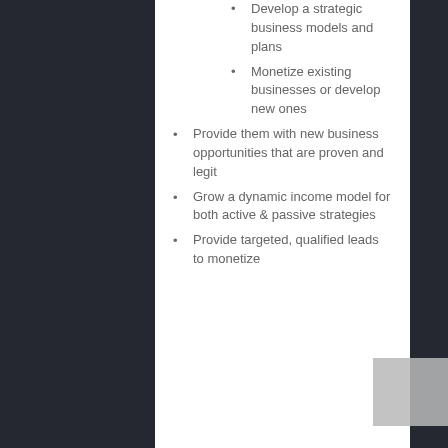Develop a strategic business models and plans
Monetize existing businesses or develop new ones
Provide them with new business opportunities that are proven and legit
Grow a dynamic income model for both active & passive strategies
Provide targeted, qualified leads to monetize